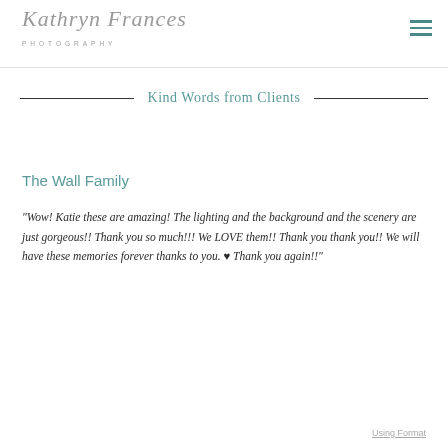Kathryn Frances Photography
Kind Words from Clients
The Wall Family
"Wow! Katie these are amazing! The lighting and the background and the scenery are just gorgeous!! Thank you so much!!! We LOVE them!! Thank you thank you!! We will have these memories forever thanks to you. ♥ Thank you again!!"
Using Format